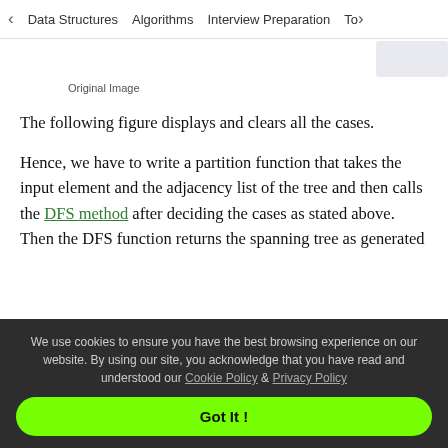< Data Structures   Algorithms   Interview Preparation   To>
Original Image
The following figure displays and clears all the cases.
Hence, we have to write a partition function that takes the input element and the adjacency list of the tree and then calls the DFS method after deciding the cases as stated above. Then the DFS function returns the spanning tree as generated
We use cookies to ensure you have the best browsing experience on our website. By using our site, you acknowledge that you have read and understood our Cookie Policy & Privacy Policy
Got It !